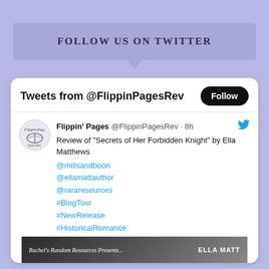FOLLOW US ON TWITTER
[Figure (screenshot): Twitter widget screenshot showing Tweets from @FlippinPagesRev with a Follow button, and a tweet from Flippin' Pages @FlippinPagesRev 8h ago: Review of "Secrets of Her Forbidden Knight" by Ella Matthews, with mentions @millsandboon @ellamattauthor @rararesources and hashtags #BlogTour #NewRelease #HistoricalRomance #MedievalRomance and link flippinpages.blog/2022/08/29/blo…, plus bottom image strip showing Rachel's Random Resources Presents... and ELLA MATT]